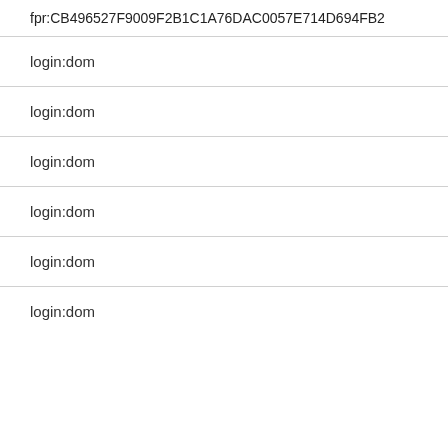fpr:CB496527F9009F2B1C1A76DAC0057E714D694FB2
login:dom
login:dom
login:dom
login:dom
login:dom
login:dom